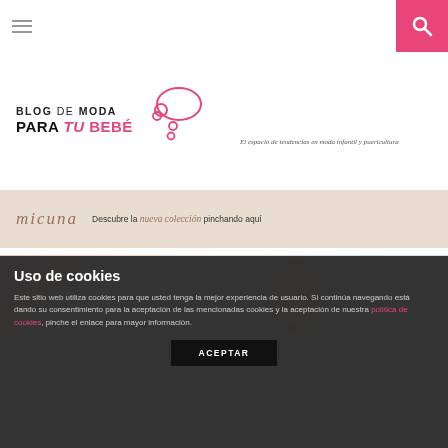[Figure (screenshot): Navigation bar with hamburger menu icon on left and pink search button on right]
[Figure (logo): Blog de Moda PARA tu BEBÉ logo with thought bubble SVG and tagline: El espacio de tendencias en moda infantil y puericultura]
[Figure (screenshot): Micuna banner advertisement: Descubre la nueva colección pinchando aquí]
[Figure (photo): Baby photo on pink/teal gradient background]
Uso de cookies
Este sitio web utiliza cookies para que usted tenga la mejor experiencia de usuario. Si continúa navegando está dando su consentimiento para la aceptación de las mencionadas cookies y la aceptación de nuestra política de cookies, pinche el enlace para mayor información.
ACEPTAR